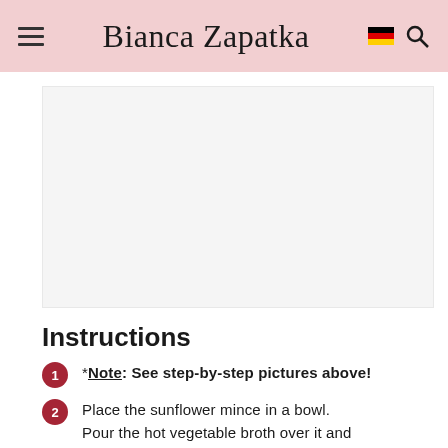Bianca Zapatka
[Figure (photo): Step-by-step recipe photo placeholder]
Instructions
*Note: See step-by-step pictures above!
Place the sunflower mince in a bowl. Pour the hot vegetable broth over it and allow to soak for 5-10 minutes. Then transfer to a fine-meshed sieve and squeeze out any excess liquid.